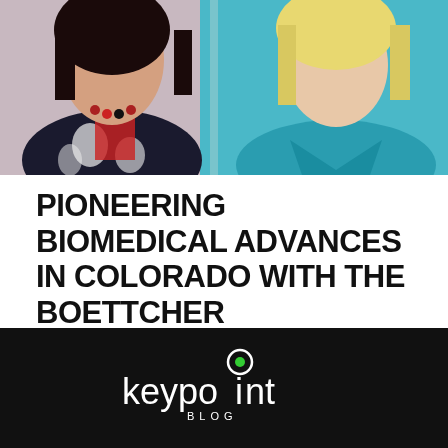[Figure (photo): Two women posing together. Left woman has dark hair, wearing a patterned black-and-white outfit with a red necklace. Right woman is blonde, wearing a teal/turquoise top.]
PIONEERING BIOMEDICAL ADVANCES IN COLORADO WITH THE BOETTCHER FOUNDATION
[Figure (logo): Keypoint Blog logo — white text on black background with a circular icon featuring a green dot inside a white circle ring above the letter 'i' in 'keypoint', with 'BLOG' in spaced letters below.]